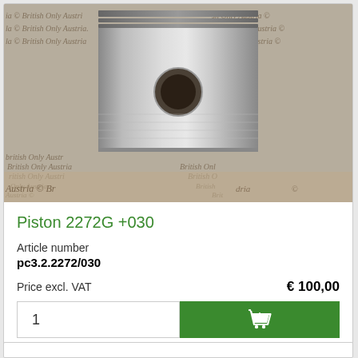[Figure (photo): Photograph of a metal piston (part number 2272G +030) shown from the side, with visible piston pin hole. Background shows watermarked paper with 'British Only Austria' text repeated in italic. Product listing card from an auto parts webshop.]
Piston 2272G +030
Article number
pc3.2.2272/030
Price excl. VAT
€ 100,00